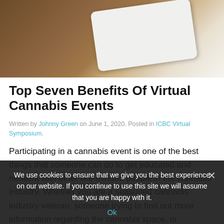[Figure (photo): Photo of a white tablet or notebook on a wooden surface, viewed from above at an angle.]
Top Seven Benefits Of Virtual Cannabis Events
Written by Johnny Green on June 1, 2020. Posted in ICBC Virtual Symposium.
Participating in a cannabis event is one of the best things that someone can do to get educated and network with other like-minded people in the cannabis industry. Whether you are a seasoned cannabis industry veteran, someone trying to find out more information regarding the cannabis space, or
We use cookies to ensure that we give you the best experience on our website. If you continue to use this site we will assume that you are happy with it.